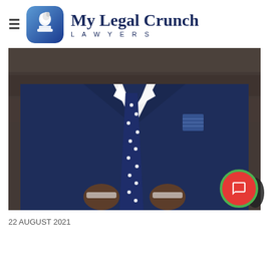My Legal Crunch LAWYERS
[Figure (photo): Professional man in a navy blue suit with a polka-dot tie and pocket square, photographed from the neck down, holding his jacket lapels]
22 AUGUST 2021